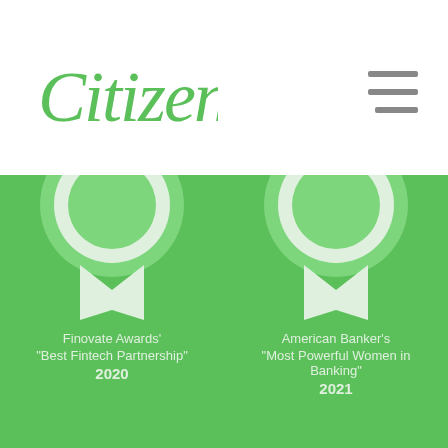[Figure (logo): Citizens bank cursive green logo]
[Figure (other): Hamburger menu icon (three horizontal lines)]
[Figure (infographic): Four award badges on green background. Top left: ribbon badge - Finovate Awards' Best Fintech Partnership 2020. Top right: ribbon badge - American Banker's Most Powerful Women in Banking 2021. Bottom left: circular medal badge - Executive of the Year. Bottom right: circular medal badge - Banker of the Year.]